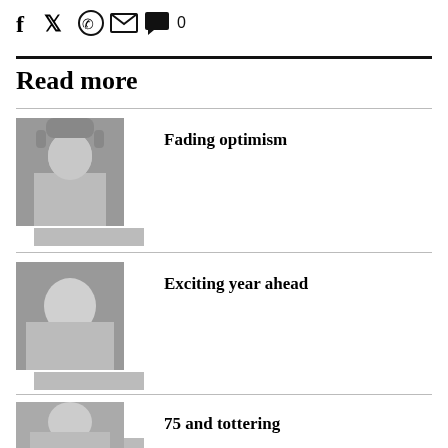[Figure (other): Social media sharing icons: Facebook, Twitter, WhatsApp, Email, Comment (0)]
Read more
Fading optimism
Exciting year ahead
75 and tottering